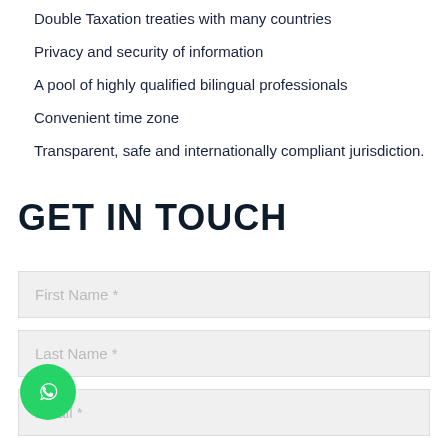Double Taxation treaties with many countries
Privacy and security of information
A pool of highly qualified bilingual professionals
Convenient time zone
Transparent, safe and internationally compliant jurisdiction.
GET IN TOUCH
First Name *
Last Name *
Email *
Phone number *